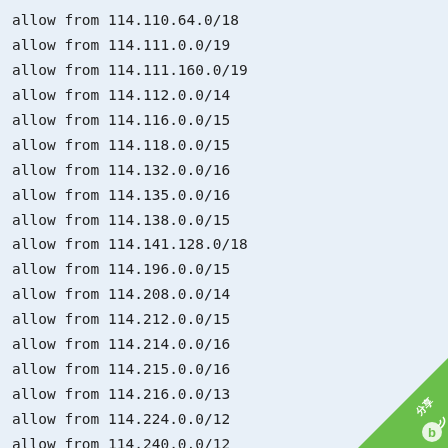allow from 114.110.64.0/18
allow from 114.111.0.0/19
allow from 114.111.160.0/19
allow from 114.112.0.0/14
allow from 114.116.0.0/15
allow from 114.118.0.0/15
allow from 114.132.0.0/16
allow from 114.135.0.0/16
allow from 114.138.0.0/15
allow from 114.141.128.0/18
allow from 114.196.0.0/15
allow from 114.208.0.0/14
allow from 114.212.0.0/15
allow from 114.214.0.0/16
allow from 114.215.0.0/16
allow from 114.216.0.0/13
allow from 114.224.0.0/12
allow from 114.240.0.0/12
allow from 115.24.0.0/14
allow from 115.28.0.0/15
allow from 115.32.0.0/14
allow from 115.44.0.0/15
allow from 115.46.0.0/16
allow from 115.47.0.0/16
[Figure (logo): Green triangular watermark badge in bottom-right corner with Chinese characters and a 'b' logo icon]